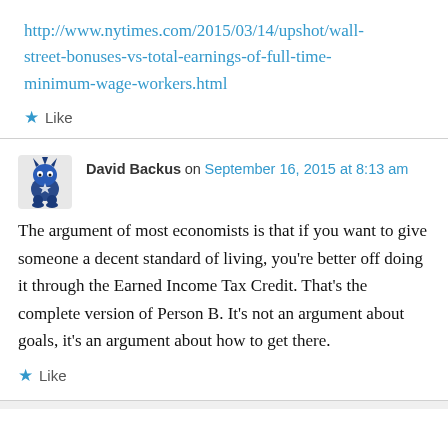http://www.nytimes.com/2015/03/14/upshot/wall-street-bonuses-vs-total-earnings-of-full-time-minimum-wage-workers.html
★ Like
David Backus on September 16, 2015 at 8:13 am
The argument of most economists is that if you want to give someone a decent standard of living, you're better off doing it through the Earned Income Tax Credit. That's the complete version of Person B. It's not an argument about goals, it's an argument about how to get there.
★ Like